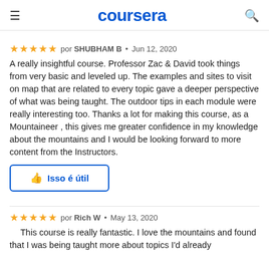coursera
★★★★★ por SHUBHAM B • Jun 12, 2020
A really insightful course. Professor Zac & David took things from very basic and leveled up. The examples and sites to visit on map that are related to every topic gave a deeper perspective of what was being taught. The outdoor tips in each module were really interesting too. Thanks a lot for making this course, as a Mountaineer , this gives me greater confidence in my knowledge about the mountains and I would be looking forward to more content from the Instructors.
Isso é útil
★★★★★ por Rich W • May 13, 2020
This course is really fantastic. I love the mountains and found that I was being taught more about topics I'd already